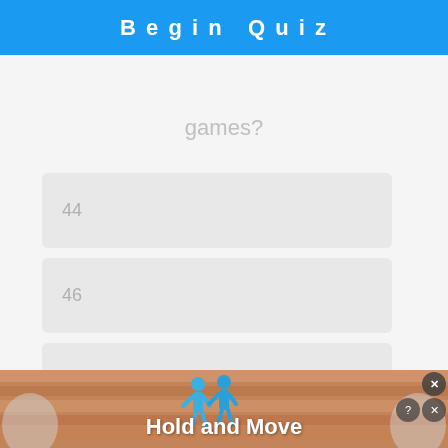Begin Quiz
games?
44
46
47
45
[Figure (screenshot): Ad banner showing 'Hold and Move' app with blue figure icons on a wooden surface background, with close and help/close buttons in top right corner]